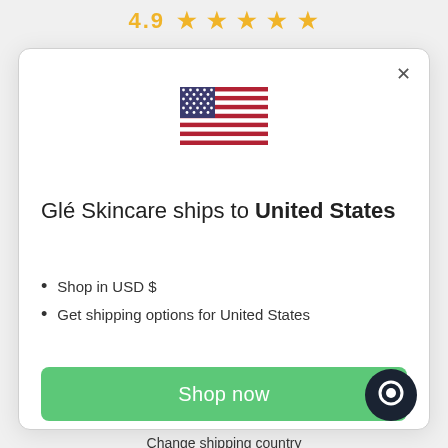4.9 ★ ★ ★ ★ ★
[Figure (illustration): US Flag emoji]
Glé Skincare ships to United States
Shop in USD $
Get shipping options for United States
Shop now
Change shipping country